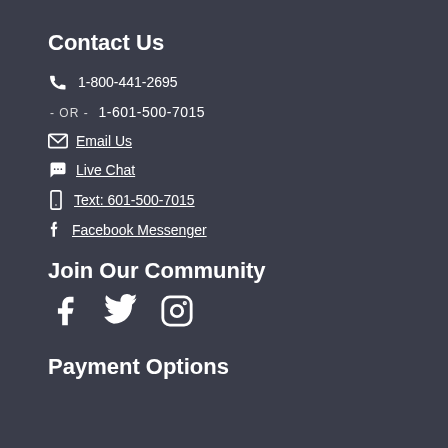Contact Us
1-800-441-2695
- OR - 1-601-500-7015
Email Us
Live Chat
Text: 601-500-7015
Facebook Messenger
Join Our Community
[Figure (illustration): Three social media icons: Facebook, Twitter, Instagram]
Payment Options